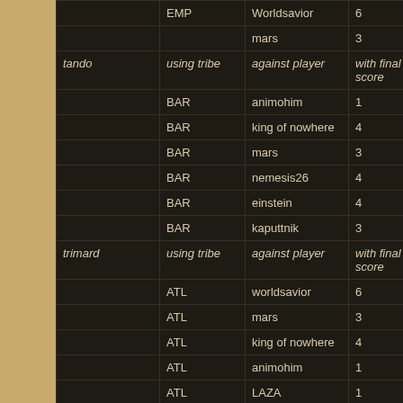| player | using tribe | against player | with final score | using |
| --- | --- | --- | --- | --- |
|  | EMP | Worldsavior | 6 | ATL |
|  |  | mars | 3 |  |
| tando | using tribe | against player | with final score | using |
|  | BAR | animohim | 1 | EMP |
|  | BAR | king of nowhere | 4 | EMP |
|  | BAR | mars | 3 | ATL |
|  | BAR | nemesis26 | 4 | EMP |
|  | BAR | einstein | 4 | EMP |
|  | BAR | kaputtnik | 3 | EMP |
| trimard | using tribe | against player | with final score | using |
|  | ATL | worldsavior | 6 | EMP |
|  | ATL | mars | 3 | ATL |
|  | ATL | king of nowhere | 4 | ATL |
|  | ATL | animohim | 1 |  |
|  | ATL | LAZA | 1 |  |
|  | ATL | Hasi50 | 2 | ATL |
| worldsavior | using tribe | against player | with final score | using |
|  | EMP | trimard | 3 | ATL |